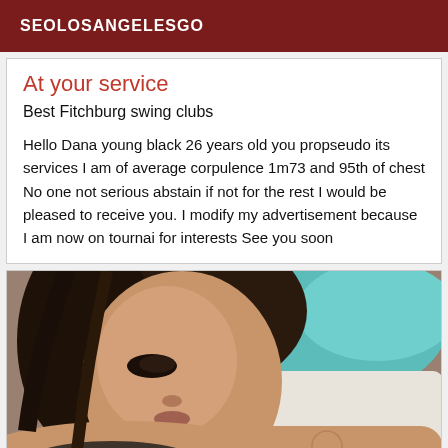SEOLOSANGELESGO
At your service
Best Fitchburg swing clubs
Hello Dana young black 26 years old you propseudo its services I am of average corpulence 1m73 and 95th of chest No one not serious abstain if not for the rest I would be pleased to receive you. I modify my advertisement because I am now on tournai for interests See you soon
[Figure (photo): Portrait photo of a young woman with dark hair, looking to the side, with teal/turquoise pillow in background]